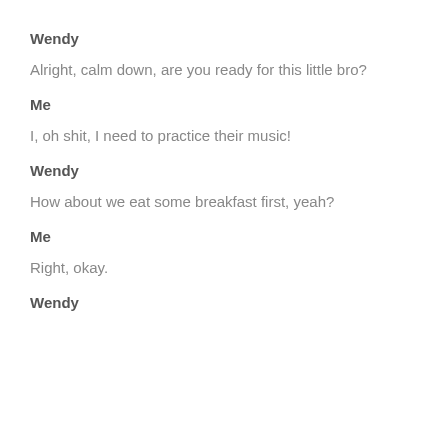Wendy
Alright, calm down, are you ready for this little bro?
Me
I, oh shit, I need to practice their music!
Wendy
How about we eat some breakfast first, yeah?
Me
Right, okay.
Wendy